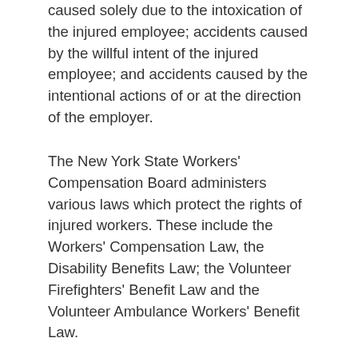caused solely due to the intoxication of the injured employee; accidents caused by the willful intent of the injured employee; and accidents caused by the intentional actions of or at the direction of the employer.
The New York State Workers' Compensation Board administers various laws which protect the rights of injured workers. These include the Workers' Compensation Law, the Disability Benefits Law; the Volunteer Firefighters' Benefit Law and the Volunteer Ambulance Workers' Benefit Law.
Here at Lipsitz, Ponterio & Comerford, it is our mission to ensure that each injured worker, or the family of a deceased worker, is treated fairly and reasonably by the insurance company under the